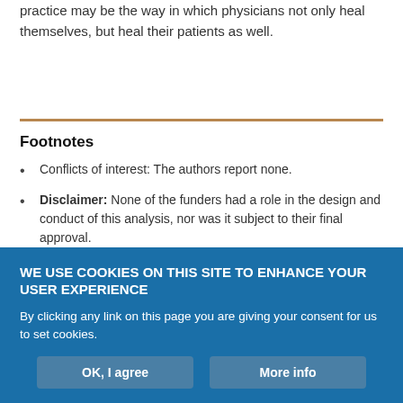practice may be the way in which physicians not only heal themselves, but heal their patients as well.
Footnotes
Conflicts of interest: The authors report none.
Disclaimer: None of the funders had a role in the design and conduct of this analysis, nor was it subject to their final approval.
Previous presentations: The results relating to mindfulness were presented in part at the International Conference on
WE USE COOKIES ON THIS SITE TO ENHANCE YOUR USER EXPERIENCE
By clicking any link on this page you are giving your consent for us to set cookies.